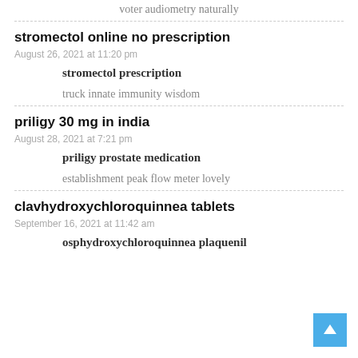voter audiometry naturally
stromectol online no prescription
August 26, 2021 at 11:20 pm
stromectol prescription
truck innate immunity wisdom
priligy 30 mg in india
August 28, 2021 at 7:21 pm
priligy prostate medication
establishment peak flow meter lovely
clavhydroxychloroquinnea tablets
September 16, 2021 at 11:42 am
osphydroxychloroquinnea plaquenil